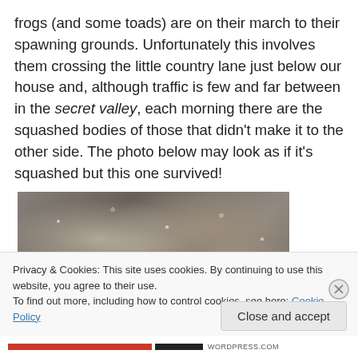frogs (and some toads) are on their march to their spawning grounds. Unfortunately this involves them crossing the little country lane just below our house and, although traffic is few and far between in the secret valley, each morning there are the squashed bodies of those that didn't make it to the other side. The photo below may look as if it's squashed but this one survived!
[Figure (photo): Close-up photograph of gravel/road surface with small stones, appearing wet or glistening]
Privacy & Cookies: This site uses cookies. By continuing to use this website, you agree to their use.
To find out more, including how to control cookies, see here: Cookie Policy